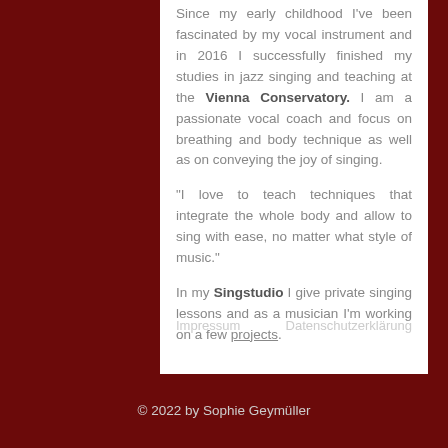Since my early childhood I've been fascinated by my vocal instrument and in 2016 I successfully finished my studies in jazz singing and teaching at the Vienna Conservatory. I am a passionate vocal coach and focus on breathing and body technique as well as on conveying the joy of singing.
"I love to teach techniques that integrate the whole body and allow to sing with ease, no matter what style of music."
In my Singstudio I give private singing lessons and as a musician I'm working on a few projects.
Impressum    Datenschutzerklärung
© 2022 by Sophie Geymüller